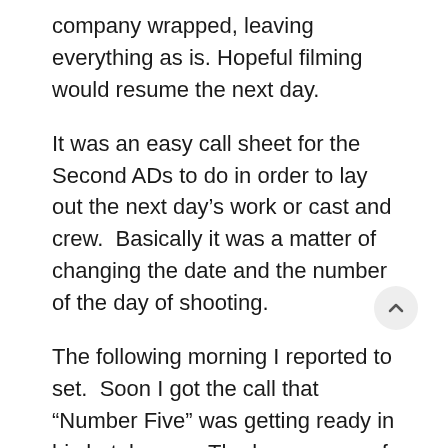company wrapped, leaving everything as is. Hopeful filming would resume the next day.
It was an easy call sheet for the Second ADs to do in order to lay out the next day’s work or cast and crew.  Basically it was a matter of changing the date and the number of the day of shooting.
The following morning I reported to set.  Soon I got the call that “Number Five” was getting ready in his hotel room.  The large group of Reporters got ready at the stage.  The crew reinstated the lighting.  Everyone got ready to go on the master.
A car to bring “Number Five” to the stage was